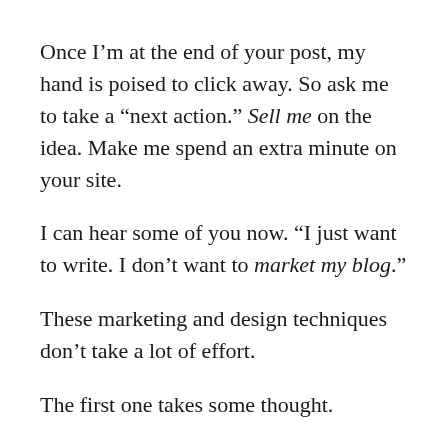Once I'm at the end of your post, my hand is poised to click away. So ask me to take a “next action.” Sell me on the idea. Make me spend an extra minute on your site.
I can hear some of you now. “I just want to write. I don’t want to market my blog.”
These marketing and design techniques don’t take a lot of effort.
The first one takes some thought.
The second is a one-time decision.